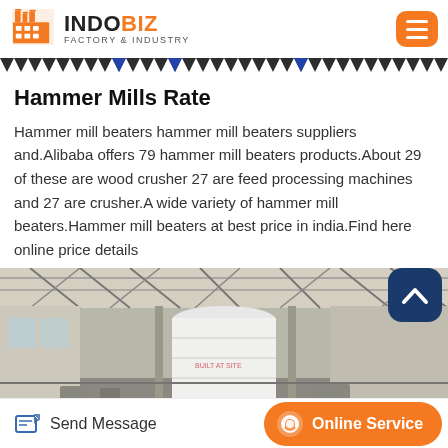INDOBIZ FACTORY & INDUSTRY
Hammer Mills Rate
Hammer mill beaters hammer mill beaters suppliers and.Alibaba offers 79 hammer mill beaters products.About 29 of these are wood crusher 27 are feed processing machines and 27 are crusher.A wide variety of hammer mill beaters.Hammer mill beaters at best price in india.Find here online price details
[Figure (photo): Industrial factory interior showing large white cylindrical tank or silo inside a warehouse with metal roof trusses and structural steel framework visible]
Send Message | Online Service